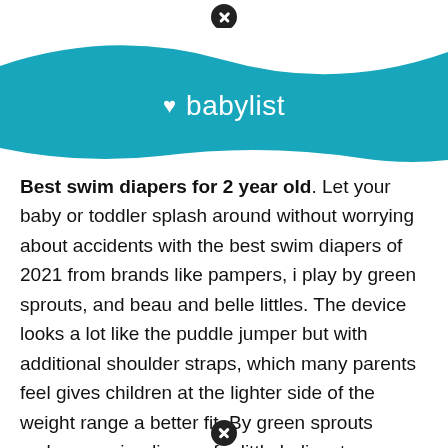[Figure (logo): Babylist logo on teal wave background with white heart symbol and 'babylist' text in white]
Best swim diapers for 2 year old. Let your baby or toddler splash around without worrying about accidents with the best swim diapers of 2021 from brands like pampers, i play by green sprouts, and beau and belle littles. The device looks a lot like the puddle jumper but with additional shoulder straps, which many parents feel gives children at the lighter side of the weight range a better fit. By green sprouts makes a swim diapers for little ladies, too.